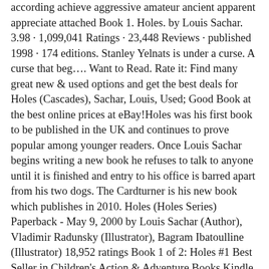according achieve aggressive amateur ancient apparent appreciate attached Book 1. Holes. by Louis Sachar. 3.98 · 1,099,041 Ratings · 23,448 Reviews · published 1998 · 174 editions. Stanley Yelnats is under a curse. A curse that beg…. Want to Read. Rate it: Find many great new & used options and get the best deals for Holes (Cascades), Sachar, Louis, Used; Good Book at the best online prices at eBay!Holes was his first book to be published in the UK and continues to prove popular among younger readers. Once Louis Sachar begins writing a new book he refuses to talk to anyone until it is finished and entry to his office is barred apart from his two dogs. The Cardturner is his new book which publishes in 2010. Holes (Holes Series) Paperback - May 9, 2000 by Louis Sachar (Author), Vladimir Radunsky (Illustrator), Bagram Ibatoulline (Illustrator) 18,952 ratings Book 1 of 2: Holes #1 Best Seller in Children's Action & Adventure Books Kindle $8.99 Read with Our Free App Audiobook $0.00 Free with your Audible trial HardcoverHoles by Louis Sachar: A Novel Teaching Pack. A classroom-ready teacher's resource with chapter summaries, prereading activities, vocabulary lists with definitions and activities, short answer questions, chapter-by-chapter and whole book